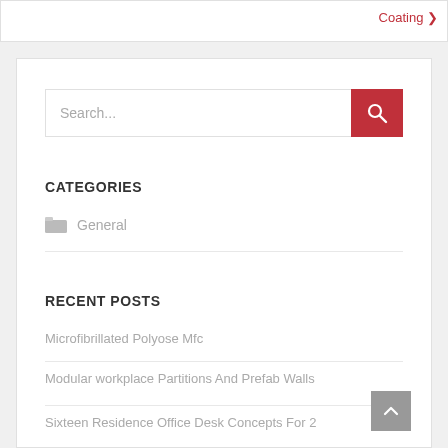Coating ›
[Figure (screenshot): Search bar with text input field and red search button with magnifying glass icon]
CATEGORIES
General
RECENT POSTS
Microfibrillated Polyose Mfc
Modular workplace Partitions And Prefab Walls
Sixteen Residence Office Desk Concepts For 2